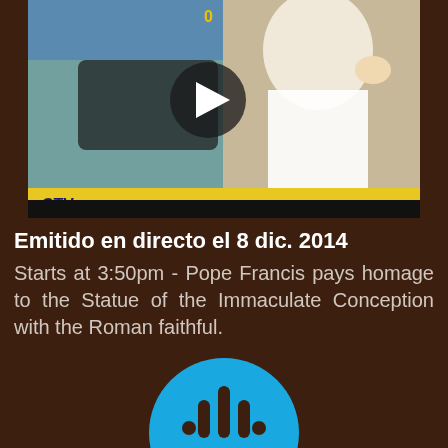[Figure (screenshot): Video thumbnail showing Pope Francis waving, with CTV broadcast overlay showing date 8/12/2014 and www.radiovaticana.va, and a play button icon over a camera image]
Emitido en directo el 8 dic. 2014
Starts at 3:50pm - Pope Francis pays homage to the Statue of the Immaculate Conception with the Roman faithful.
[Figure (logo): Circular blue logo with stylized microphone/audio bars icon in dark brown]